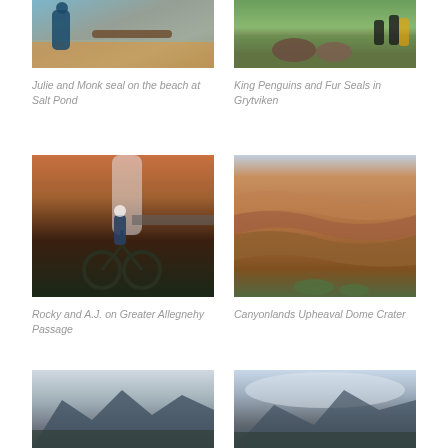[Figure (photo): Julie and Monk seal on the beach at Salt Pond - person standing near water with a log]
Julie and Monk seal on the beach at Salt Pond
[Figure (photo): King Penguins and Fur Seals in Grytviken - seals on green grass with penguins in background]
King Penguins and Fur Seals in Grytviken
[Figure (photo): Rocky and A.J. on Greater Allegnehy Passage - cyclist with loaded bike near waterfall and red rock]
Rocky and A.J. on Greater Allegnehy Passage
[Figure (photo): Canyonlands Upheaval Dome Crater - red canyon landscape with layered rock formations]
Canyonlands Upheaval Dome Crater
[Figure (photo): Mountain landscape partially visible at bottom left]
[Figure (photo): Mountain landscape with clouds at bottom right]